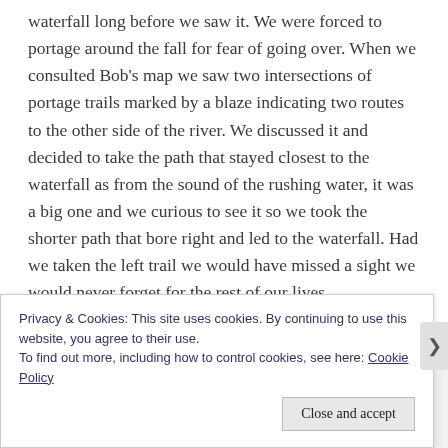waterfall long before we saw it. We were forced to portage around the fall for fear of going over. When we consulted Bob's map we saw two intersections of portage trails marked by a blaze indicating two routes to the other side of the river. We discussed it and decided to take the path that stayed closest to the waterfall as from the sound of the rushing water, it was a big one and we curious to see it so we took the shorter path that bore right and led to the waterfall. Had we taken the left trail we would have missed a sight we would never forget for the rest of our lives.
The trail took us on a steep decline for a quarter of a
Privacy & Cookies: This site uses cookies. By continuing to use this website, you agree to their use.
To find out more, including how to control cookies, see here: Cookie Policy